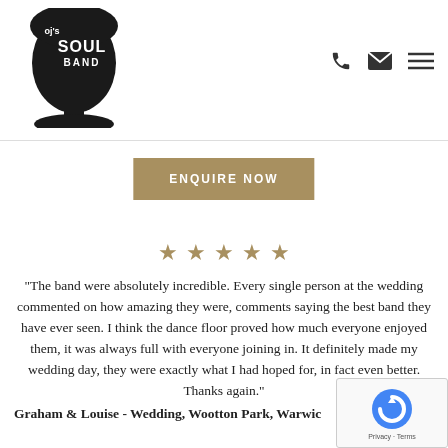OJ's Soul Band
ENQUIRE NOW
[Figure (other): Five gold stars rating]
“The band were absolutely incredible. Every single person at the wedding commented on how amazing they were, comments saying the best band they have ever seen. I think the dance floor proved how much everyone enjoyed them, it was always full with everyone joining in. It definitely made my wedding day, they were exactly what I had hoped for, in fact even better. Thanks again.”
Graham & Louise - Wedding, Wootton Park, Warwic...